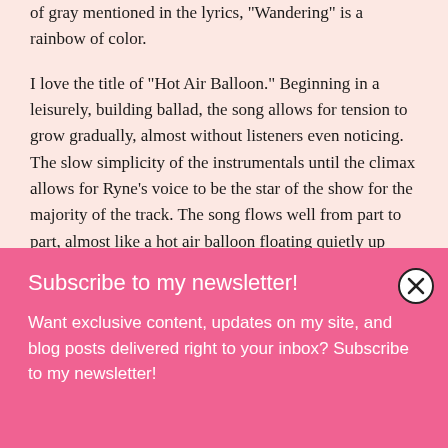of gray mentioned in the lyrics, "Wandering" is a rainbow of color.
I love the title of "Hot Air Balloon." Beginning in a leisurely, building ballad, the song allows for tension to grow gradually, almost without listeners even noticing. The slow simplicity of the instrumentals until the climax allows for Ryne's voice to be the star of the show for the majority of the track. The song flows well from part to part, almost like a hot air balloon floating quietly up above before Ryne's dragged out notes form a puff of wind that takes it up into the clouds and out of sight.
Subscribe to my newsletter!
Want exclusive content, updates on my site, and blog posts delivered right to your inbox? Subscribe to my newsletter!